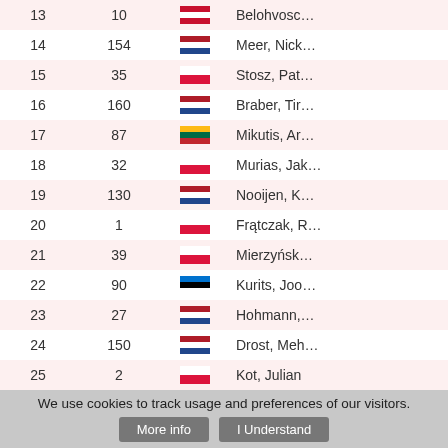| Rank | No. | Flag | Name |
| --- | --- | --- | --- |
| 13 | 10 | AUT | Belohvosc… |
| 14 | 154 | NED | Meer, Nick… |
| 15 | 35 | POL | Stosz, Pat… |
| 16 | 160 | NED | Braber, Tir… |
| 17 | 87 | LTU | Mikutis, Ar… |
| 18 | 32 | POL | Murias, Jak… |
| 19 | 130 | NED | Nooijen, K… |
| 20 | 1 | POL | Frątczak, R… |
| 21 | 39 | POL | Mierzyńsk… |
| 22 | 90 | EST | Kurits, Joo… |
| 23 | 27 | NED | Hohmann,… |
| 24 | 150 | NED | Drost, Meh… |
| 25 | 2 | POL | Kot, Julian |
| 26 | 117 | HUN | Istlstekker… |
| 27 | 137 | POL | Migas, Dav… |
We use cookies to track usage and preferences of our visitors.